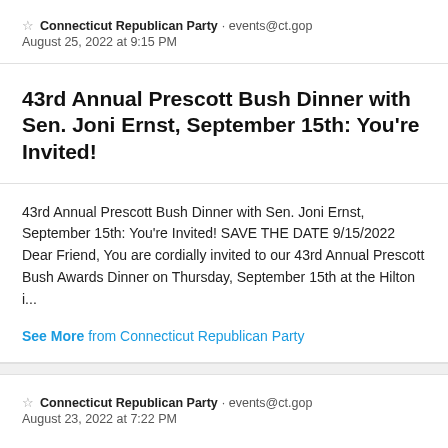Connecticut Republican Party · events@ct.gop
August 25, 2022 at 9:15 PM
43rd Annual Prescott Bush Dinner with Sen. Joni Ernst, September 15th: You're Invited!
43rd Annual Prescott Bush Dinner with Sen. Joni Ernst, September 15th: You're Invited! SAVE THE DATE 9/15/2022 Dear Friend, You are cordially invited to our 43rd Annual Prescott Bush Awards Dinner on Thursday, September 15th at the Hilton i...
See More from Connecticut Republican Party
Connecticut Republican Party · events@ct.gop
August 23, 2022 at 7:22 PM
43rd Annual Prescott Bush Dinner...